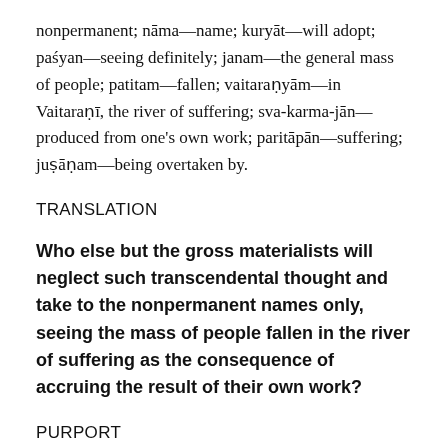nonpermanent; nāma—name; kuryāt—will adopt; paśyan—seeing definitely; janam—the general mass of people; patitam—fallen; vaitaraṇyām—in Vaitaraṇī, the river of suffering; sva-karma-jān—produced from one's own work; paritāpān—suffering; juṣāṇam—being overtaken by.
TRANSLATION
Who else but the gross materialists will neglect such transcendental thought and take to the nonpermanent names only, seeing the mass of people fallen in the river of suffering as the consequence of accruing the result of their own work?
PURPORT
In the Vedas it is said that persons who are attached to demigods to the exclusion of the Supreme Personality of